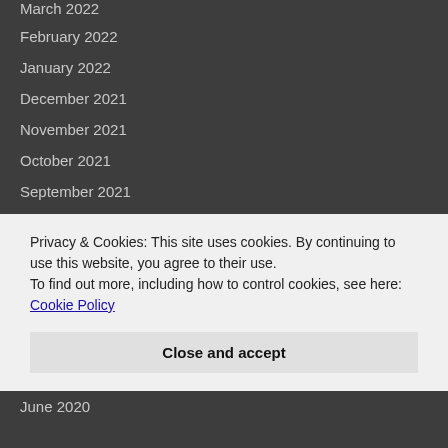March 2022
February 2022
January 2022
December 2021
November 2021
October 2021
September 2021
August 2021
July 2021
June 2021
May 2021
April 2021
March 2021
Privacy & Cookies: This site uses cookies. By continuing to use this website, you agree to their use.
To find out more, including how to control cookies, see here: Cookie Policy
Close and accept
June 2020